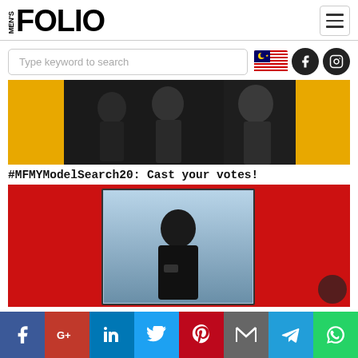MEN'S FOLIO
Type keyword to search
[Figure (photo): Banner image showing models with yellow/gold accents for MFMYModelSearch20]
#MFMYModelSearch20: Cast your votes!
[Figure (photo): Red background promotional image with a young man in black outfit centered in a photo frame]
Social share bar: Facebook, Google+, LinkedIn, Twitter, Pinterest, Gmail, Telegram, WhatsApp